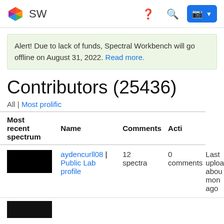SW — Spectral Workbench navigation bar
Alert! Due to lack of funds, Spectral Workbench will go offline on August 31, 2022. Read more.
Contributors (25436)
All | Most prolific
| Most recent spectrum | Name | Comments | Activity |
| --- | --- | --- | --- |
| [image] | aydencurll08 | Public Lab profile | 12 spectra
0 comments | Last upload about a month ago |
| [image] |  |  |  |